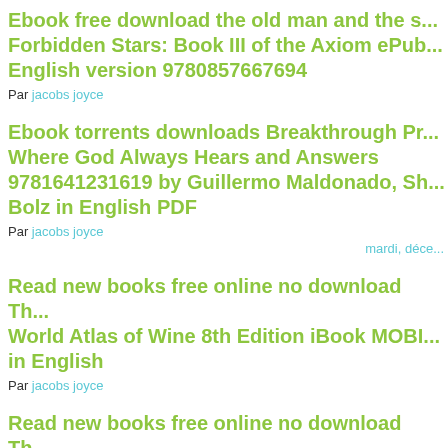Ebook free download the old man and the s... Forbidden Stars: Book III of the Axiom ePub... English version 9780857667694
Par jacobs joyce
Ebook torrents downloads Breakthrough Pr... Where God Always Hears and Answers 9781641231619 by Guillermo Maldonado, Sh... Bolz in English PDF
Par jacobs joyce
mardi, déce...
Read new books free online no download Th... World Atlas of Wine 8th Edition iBook MOBI... in English
Par jacobs joyce
Read new books free online no download Th... World Atlas of Wine 8th Edition iBook MOBI... in English
Par jacobs joyce